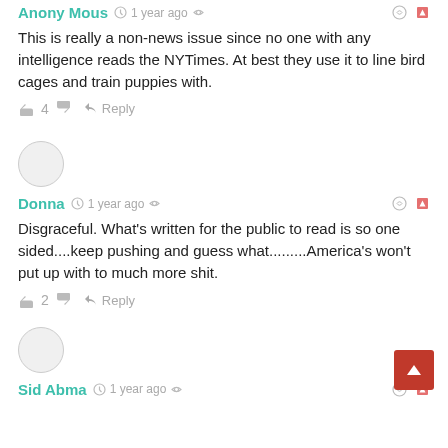Anony Mous  1 year ago
This is really a non-news issue since no one with any intelligence reads the NYTimes. At best they use it to line bird cages and train puppies with.
👍 4 👎  Reply
Donna  1 year ago
Disgraceful. What's written for the public to read is so one sided....keep pushing and guess what.........America's won't put up with to much more shit.
👍 2 👎  Reply
Sid Abma  1 year ago